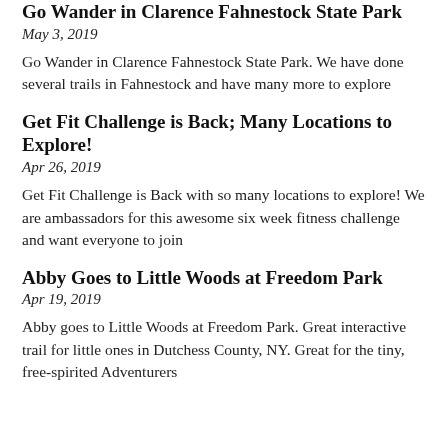Go Wander in Clarence Fahnestock State Park
May 3, 2019
Go Wander in Clarence Fahnestock State Park. We have done several trails in Fahnestock and have many more to explore
Get Fit Challenge is Back; Many Locations to Explore!
Apr 26, 2019
Get Fit Challenge is Back with so many locations to explore! We are ambassadors for this awesome six week fitness challenge and want everyone to join
Abby Goes to Little Woods at Freedom Park
Apr 19, 2019
Abby goes to Little Woods at Freedom Park. Great interactive trail for little ones in Dutchess County, NY. Great for the tiny, free-spirited Adventurers